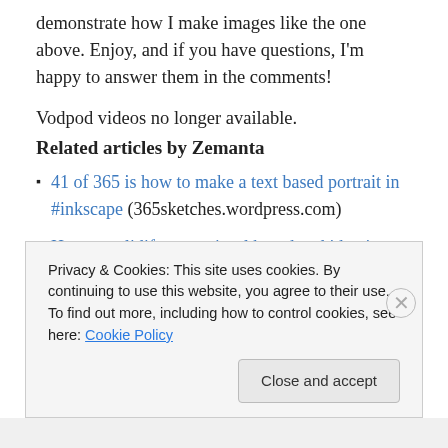demonstrate how I make images like the one above. Enjoy, and if you have questions, I'm happy to answer them in the comments!
Vodpod videos no longer available.
Related articles by Zemanta
41 of 365 is how to make a text based portrait in #inkscape (365sketches.wordpress.com)
How to solidify your visual brand and identity (librarygarden.net)
Author: John LaMooney... Reblog this post [with Zemanta]
Privacy & Cookies: This site uses cookies. By continuing to use this website, you agree to their use. To find out more, including how to control cookies, see here: Cookie Policy
Close and accept